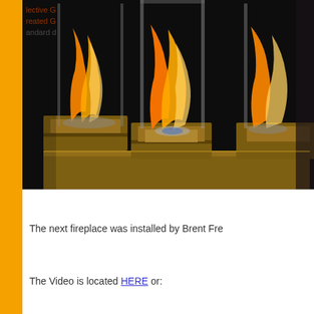[Figure (photo): Photo of a tall glass-enclosed bio-ethanol fireplace with golden square base, showing tall orange and yellow flames inside glass panels, displayed at what appears to be a trade show or exhibition. Partial text visible at top left reads 'lective G', 'reated G', 'andard d'.]
The next fireplace was installed by Brent Fre...
The Video is located HERE or: